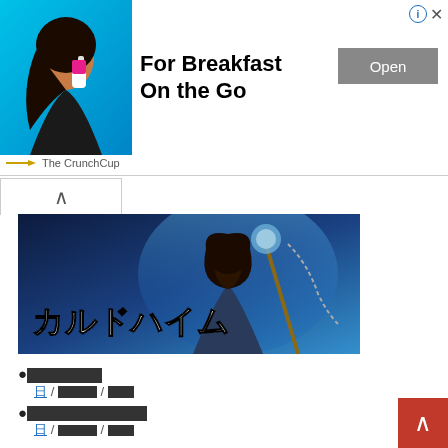[Figure (advertisement): Advertisement banner: woman drinking from pink bottle on cyan background, headline 'For Breakfast On the Go', Open button, The CrunchCup branding]
[Figure (illustration): Hero game art banner with fantasy warrior and Japanese text カルドハイム (Kaldheim)]
●□□□□□
日 / □□□□ / □□□
●□□□□□□□□□
日 / □□□□ / □□□
●□□□□□□□□□□□□
日 / □□□□ / □□□
●□□□□□